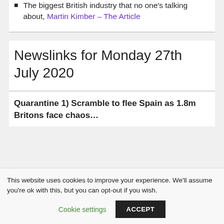The biggest British industry that no one's talking about, Martin Kimber – The Article
Newslinks for Monday 27th July 2020
Quarantine 1) Scramble to flee Spain as 1.8m Britons face chaos…
This website uses cookies to improve your experience. We'll assume you're ok with this, but you can opt-out if you wish.
Cookie settings   ACCEPT